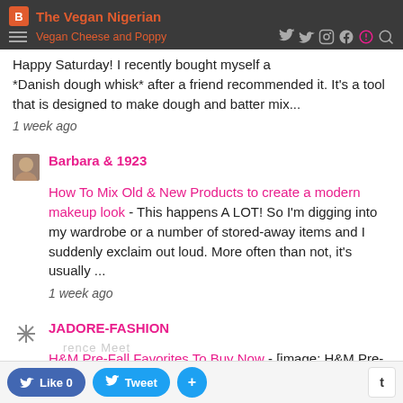The Vegan Nigerian — Vegan Cheese and Poppy Seed Bread Ro...
Happy Saturday! I recently bought myself a *Danish dough whisk* after a friend recommended it. It's a tool that is designed to make dough and batter mix...
1 week ago
Barbara & 1923
How To Mix Old & New Products to create a modern makeup look - This happens A LOT! So I'm digging into my wardrobe or a number of stored-away items and I suddenly exclaim out loud. More often than not, it's usually ...
1 week ago
JADORE-FASHION
H&M Pre-Fall Favorites To Buy Now - [image: H&M Pre-Fall Favorites To Buy Now] Can you believe we are already talking and thinking about fall? August is like the Sunday of Fall. Meaning tha...
1 week ago
Like 0  Tweet  +  t